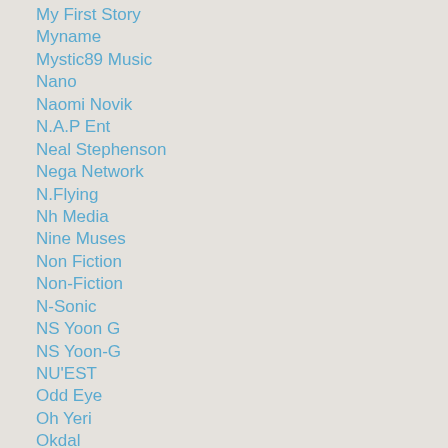My First Story
Myname
Mystic89 Music
Nano
Naomi Novik
N.A.P Ent
Neal Stephenson
Nega Network
N.Flying
Nh Media
Nine Muses
Non Fiction
Non-Fiction
N-Sonic
NS Yoon G
NS Yoon-G
NU'EST
Odd Eye
Oh Yeri
Okdal
One OK Rock